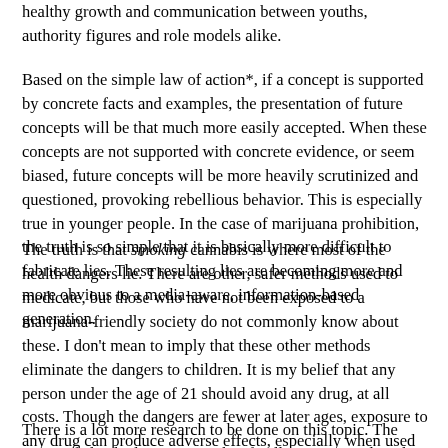healthy growth and communication between youths, authority figures and role models alike.
Based on the simple law of action*, if a concept is supported by concrete facts and examples, the presentation of future concepts will be that much more easily accepted. When these concepts are not supported with concrete evidence, or seem biased, future concepts will be more heavily scrutinized and questioned, provoking rebellious behavior. This is especially true in younger people. In the case of marijuana prohibition, the truth is so simple that it is basically more difficult to fabricate lies. These resulting lies are becoming more and more obvious to a media-aware, information-based generation.
The truth is that smoking cannabis is where most of the health dangers lie. There are other, safer methods used to medicate, but those who have not been exposed to a marijuana-friendly society do not commonly know about these. I don't mean to imply that these other methods eliminate the dangers to children. It is my belief that any person under the age of 21 should avoid any drug, at all costs. Though the dangers are fewer at later ages, exposure to any drug can produce adverse effects, especially when used inappropriately or mixed with other substances.
There is a lot more research to be done on this topic. The current federal administration has finally set a precedent that will allow